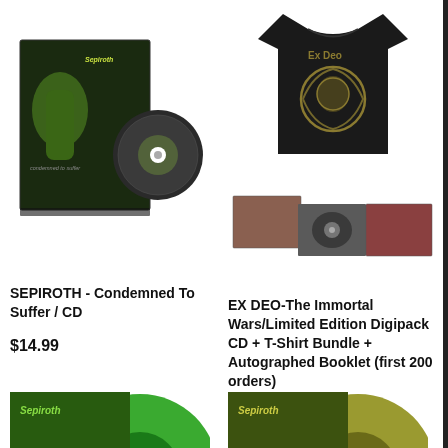[Figure (photo): Sepiroth - Condemned To Suffer CD album with jewel case and disc visible]
[Figure (photo): Ex Deo - The Immortal Wars bundle showing black t-shirt with skull design, digipack CD, and photos]
SEPIROTH - Condemned To Suffer / CD
$14.99
EX DEO-The Immortal Wars/Limited Edition Digipack CD + T-Shirt Bundle + Autographed Booklet (first 200 orders)
$24.99
[Figure (photo): Sepiroth vinyl record with green color, partial view at bottom left]
[Figure (photo): Sepiroth vinyl record with yellow/olive color, partial view at bottom right]